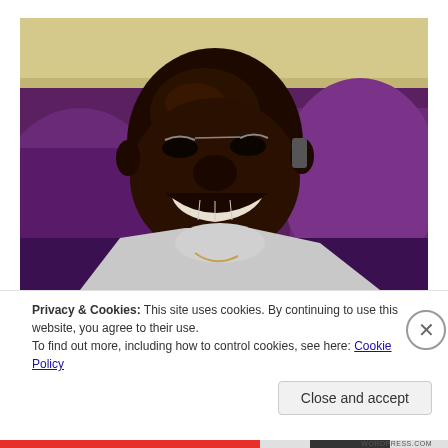[Figure (photo): A smiling man photographed indoors, with purple chairs and a cream-colored counter or shelf visible in the background. The man is wearing a light gray top and appears to be laughing.]
Privacy & Cookies: This site uses cookies. By continuing to use this website, you agree to their use.
To find out more, including how to control cookies, see here: Cookie Policy
Close and accept